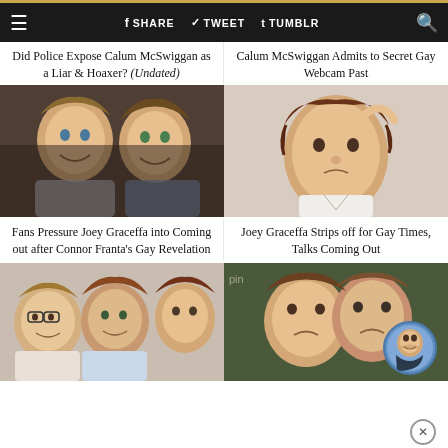≡  f SHARE  t TWEET  t TUMBLR  🔍
Did Police Expose Calum McSwiggan as a Liar & Hoaxer? (Undated)
Calum McSwiggan Admits to Secret Gay Webcam Past
[Figure (photo): Two smiling young men taking a selfie indoors]
[Figure (photo): Young man with hand in hair wearing white shirt]
Fans Pressure Joey Graceffa into Coming out after Connor Franta's Gay Revelation
Joey Graceffa Strips off for Gay Times, Talks Coming Out
[Figure (photo): Three young men facing camera]
[Figure (photo): Two young men close together with circular profile photo inset]